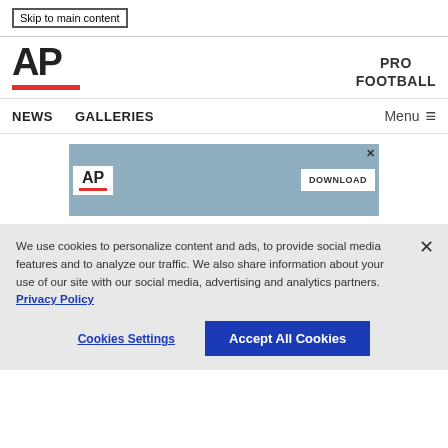Skip to main content
[Figure (logo): AP Associated Press logo with red underline bar]
PRO FOOTBALL
NEWS   GALLERIES   Menu
[Figure (screenshot): AP News on the go advertisement banner with DOWNLOAD button]
We use cookies to personalize content and ads, to provide social media features and to analyze our traffic. We also share information about your use of our site with our social media, advertising and analytics partners. Privacy Policy
Cookies Settings   Accept All Cookies